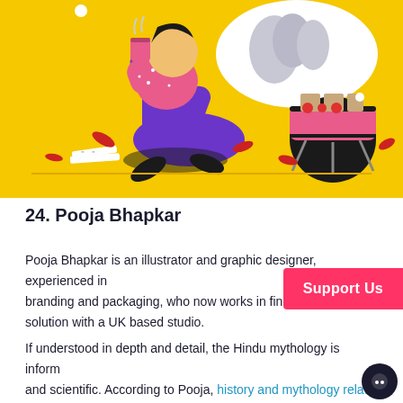[Figure (illustration): Colorful flat illustration of a person with purple clothing sitting cross-legged on a yellow background, holding a cup, with abstract shapes, leaves, and a grill-like object beside them.]
24. Pooja Bhapkar
Pooja Bhapkar is an illustrator and graphic designer, experienced in branding and packaging, who now works in finding m solution with a UK based studio.
If understood in depth and detail, the Hindu mythology is inform and scientific. According to Pooja, history and mythology relate to